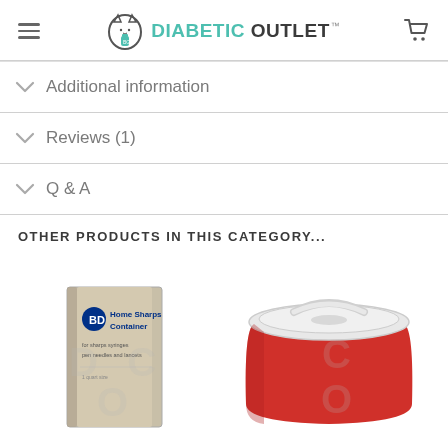Diabetic Outlet
Additional information
Reviews (1)
Q & A
OTHER PRODUCTS IN THIS CATEGORY...
[Figure (photo): BD Home Sharps Container product box image]
[Figure (photo): Red sharps disposal container with clear lid]